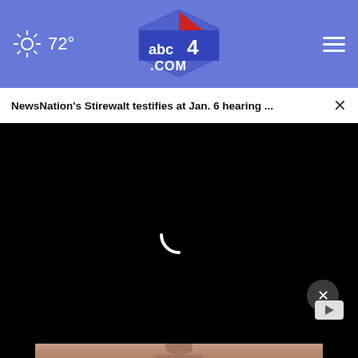72° abc4.com
NewsNation's Stirewalt testifies at Jan. 6 hearing ...
[Figure (screenshot): Black video player area with white loading spinner in the center]
[Figure (photo): Close-up photo of a person's face with textured/powdery skin visible from nose and mouth area]